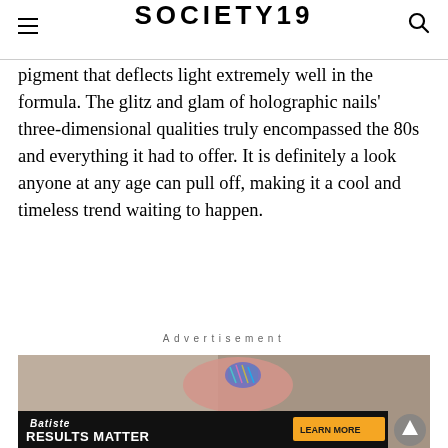SOCIETY19
pigment that deflects light extremely well in the formula. The glitz and glam of holographic nails' three-dimensional qualities truly encompassed the 80s and everything it had to offer. It is definitely a look anyone at any age can pull off, making it a cool and timeless trend waiting to happen.
Advertisement
[Figure (photo): Close-up photo of a hand with holographic nail art, with a Batiste hair product advertisement banner overlaid at the bottom reading 'RESULTS MATTER' and 'LEARN MORE']